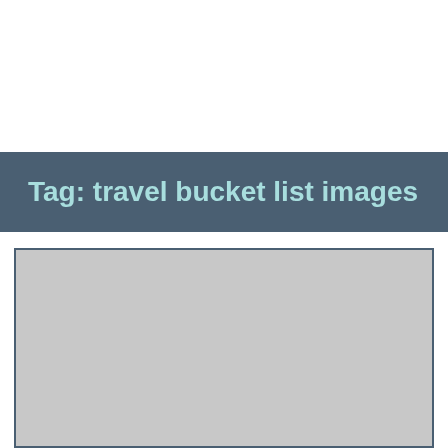Tag: travel bucket list images
[Figure (photo): Placeholder image area with light gray background, representing a travel photo]